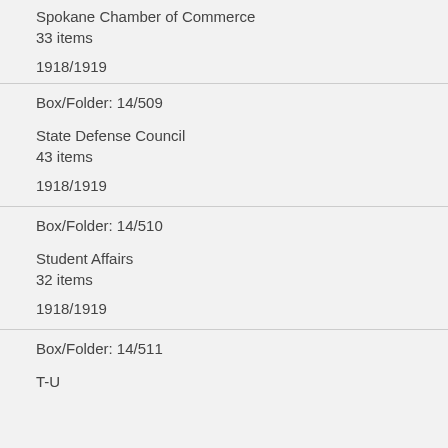Spokane Chamber of Commerce
33 items
1918/1919
Box/Folder: 14/509
State Defense Council
43 items
1918/1919
Box/Folder: 14/510
Student Affairs
32 items
1918/1919
Box/Folder: 14/511
T-U